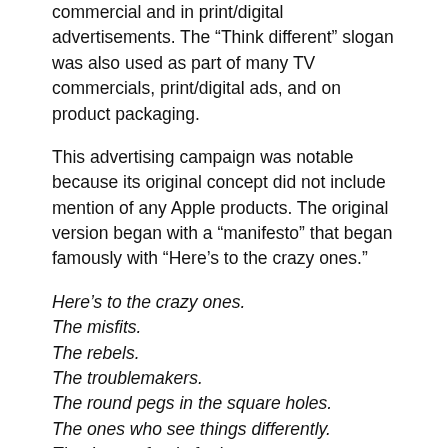commercial and in print/digital advertisements. The “Think different” slogan was also used as part of many TV commercials, print/digital ads, and on product packaging.
This advertising campaign was notable because its original concept did not include mention of any Apple products. The original version began with a “manifesto” that began famously with “Here’s to the crazy ones.”
Here’s to the crazy ones.
The misfits.
The rebels.
The troublemakers.
The round pegs in the square holes.
The ones who see things differently.
They’re not fond of rules.
And they have no respect for the status quo.
You can quote them, disagree with them,
glorify or vilify them.